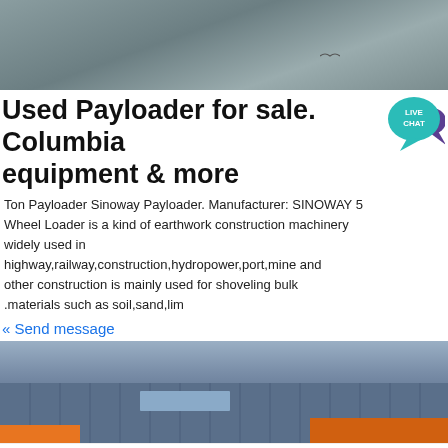[Figure (photo): Aerial/outdoor photo used as page banner, grayish sky and ground tones]
Used Payloader for sale. Columbia equipment & more
[Figure (illustration): Live Chat badge — teal speech bubble with LIVE CHAT text]
Ton Payloader Sinoway Payloader. Manufacturer: SINOWAY 5 Wheel Loader is a kind of earthwork construction machinery widely used in highway,railway,construction,hydropower,port,mine and other construction is mainly used for shoveling bulk .materials such as soil,sand,lim
« Send message
[Figure (photo): Photo of industrial building with blue metal cladding and orange accents]
WhatsApp
Get a Quote